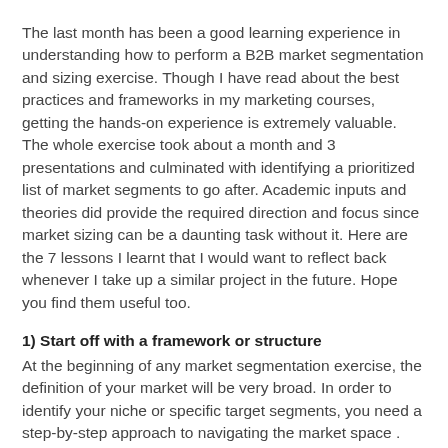The last month has been a good learning experience in understanding how to perform a B2B market segmentation and sizing exercise. Though I have read about the best practices and frameworks in my marketing courses, getting the hands-on experience is extremely valuable. The whole exercise took about a month and 3 presentations and culminated with identifying a prioritized list of market segments to go after. Academic inputs and theories did provide the required direction and focus since market sizing can be a daunting task without it. Here are the 7 lessons I learnt that I would want to reflect back whenever I take up a similar project in the future. Hope you find them useful too.
1) Start off with a framework or structure
At the beginning of any market segmentation exercise, the definition of your market will be very broad. In order to identify your niche or specific target segments, you need a step-by-step approach to navigating the market space . The framework needn't be something from academic research papers. Rather, you draw up your own based on your needs and assumptions. It should serve as a guide with the